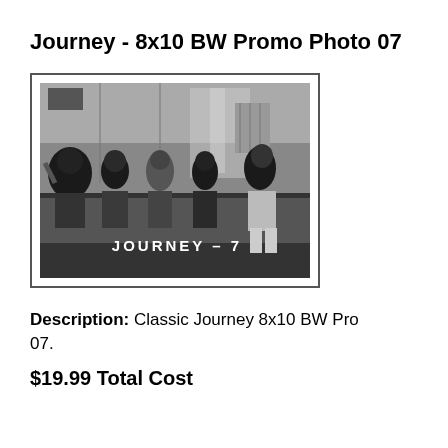Journey - 8x10 BW Promo Photo 07
[Figure (photo): Black and white promotional photo of the band Journey, five members sitting together casually, with text overlay reading 'JOURNEY – 7']
Description: Classic Journey 8x10 BW Promo Photo 07.
$19.99 Total Cost